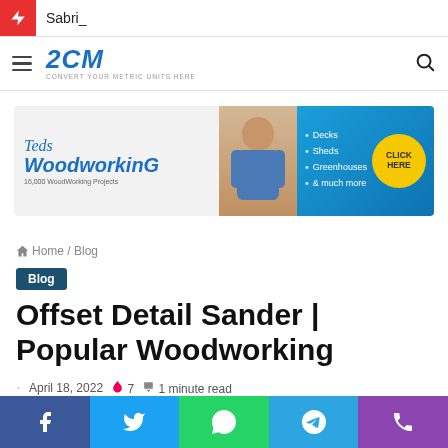Sabri_
2CM CONVERT YOUR METRIC UNITS HERE
[Figure (illustration): Ted's WoodworkinG advertisement banner — 16,000 WoodWorking Projects with bullet points: Decks, Sheds, Greenhouses, & much more. CLICK HERE button.]
Home / Blog
Blog
Offset Detail Sander | Popular Woodworking
April 18, 2022  🔥 7  📖 1 minute read
[Figure (infographic): Social share bar with Facebook, Twitter, WhatsApp, Telegram, Phone icons]